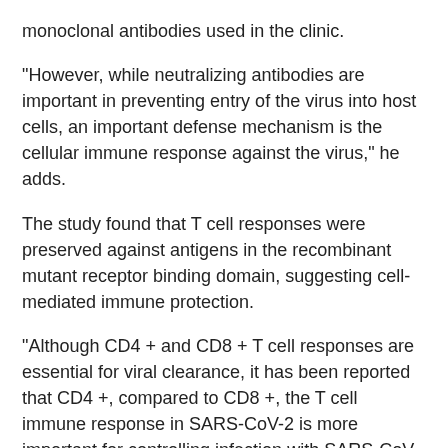monoclonal antibodies used in the clinic.
“However, while neutralizing antibodies are important in preventing entry of the virus into host cells, an important defense mechanism is the cellular immune response against the virus,” he adds.
The study found that T cell responses were preserved against antigens in the recombinant mutant receptor binding domain, suggesting cell-mediated immune protection.
“Although CD4 + and CD8 + T cell responses are essential for viral clearance, it has been reported that CD4 +, compared to CD8 +, the T cell immune response in SARS-CoV-2 is more important for controlling infection with SARS-CoV-2, â€he explains.
The study is entitled “Cellular immune responses are preserved and may contribute to the efficacy of the ChAdOx1 nCoV-19 vaccine against infection due to the delta variant of SARS-CoV-2 B Â· 1 Â· 617 Â· 2 despite a reduced viral neutralization.”